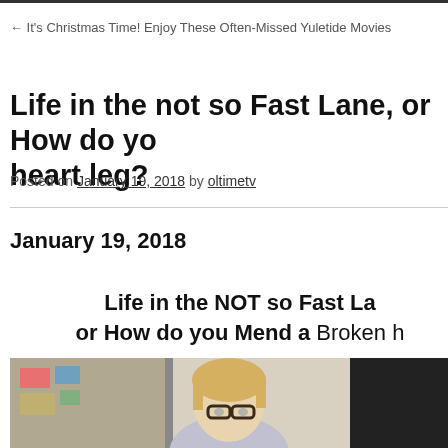← It's Christmas Time! Enjoy These Often-Missed Yuletide Movies
Life in the not so Fast Lane, or How do you Mend a Broken heart leg?
Posted on January 19, 2018 by oltimetv
January 19, 2018
Life in the NOT so Fast Lane, or How do you Mend a Broken heart leg?
[Figure (photo): Photo of a blonde woman wearing glasses, standing indoors]